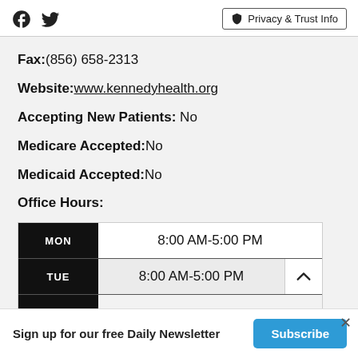Facebook Twitter | Privacy & Trust Info
Fax:(856) 658-2313
Website:www.kennedyhealth.org
Accepting New Patients: No
Medicare Accepted:No
Medicaid Accepted:No
Office Hours:
| Day | Hours |
| --- | --- |
| MON | 8:00 AM-5:00 PM |
| TUE | 8:00 AM-5:00 PM |
ADVERTISEMENT
Sign up for our free Daily Newsletter